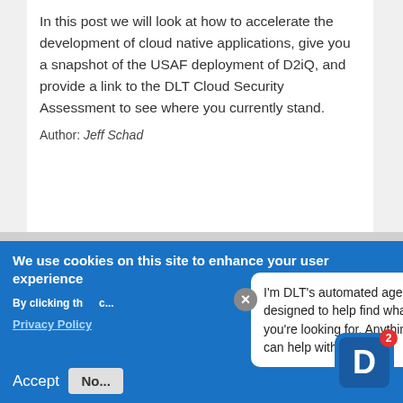In this post we will look at how to accelerate the development of cloud native applications, give you a snapshot of the USAF deployment of D2iQ, and provide a link to the DLT Cloud Security Assessment to see where you currently stand.
Author: Jeff Schad
We use cookies on this site to enhance your user experience
By clicking th... Privacy Policy...
I'm DLT's automated agent, designed to help find what you're looking for. Anything I can help with?
Accept   No...